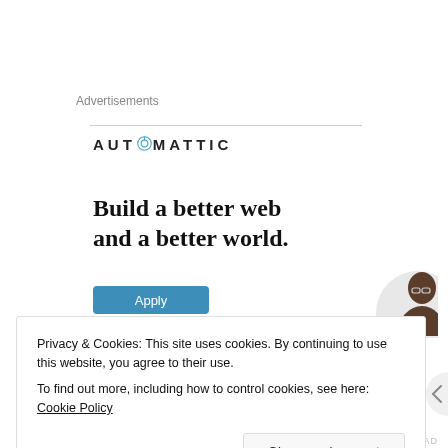Advertisements
[Figure (logo): Automattic company logo with compass icon replacing the letter O in AUTOMATTIC]
Build a better web and a better world.
[Figure (illustration): Blue Apply button and partial photo of a person wearing glasses on a light grey circular background]
Privacy & Cookies: This site uses cookies. By continuing to use this website, you agree to their use.
To find out more, including how to control cookies, see here: Cookie Policy
Close and accept
REPORT THIS AD